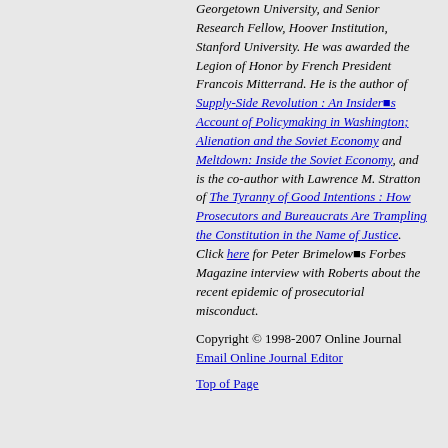Georgetown University, and Senior Research Fellow, Hoover Institution, Stanford University. He was awarded the Legion of Honor by French President Francois Mitterrand. He is the author of Supply-Side Revolution : An Insider's Account of Policymaking in Washington; Alienation and the Soviet Economy and Meltdown: Inside the Soviet Economy, and is the co-author with Lawrence M. Stratton of The Tyranny of Good Intentions : How Prosecutors and Bureaucrats Are Trampling the Constitution in the Name of Justice. Click here for Peter Brimelow's Forbes Magazine interview with Roberts about the recent epidemic of prosecutorial misconduct.
Copyright © 1998-2007 Online Journal
Email Online Journal Editor
Top of Page